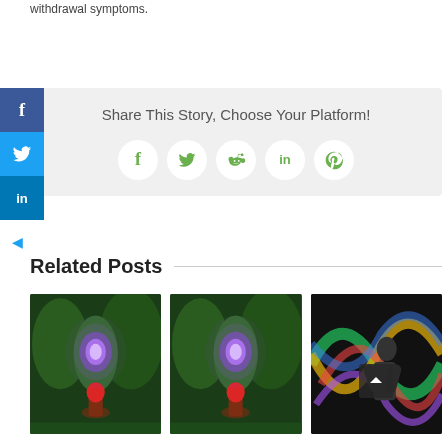withdrawal symptoms.
Share This Story, Choose Your Platform!
[Figure (infographic): Social share buttons: Facebook, Twitter, Reddit, LinkedIn, Pinterest displayed as green-icon white circles on a light grey background panel, with a vertical sidebar showing Facebook (blue), Twitter (blue), LinkedIn (blue) buttons on the left edge.]
Related Posts
[Figure (photo): Fantasy forest scene with a figure with red hair looking at a glowing magical portal among trees - first related post thumbnail]
[Figure (photo): Fantasy forest scene with a figure with red hair looking at a glowing magical portal among trees - second related post thumbnail]
[Figure (photo): Person against colorful swirling background (rainbow light trails) - third related post thumbnail with a back-to-top arrow button overlay]